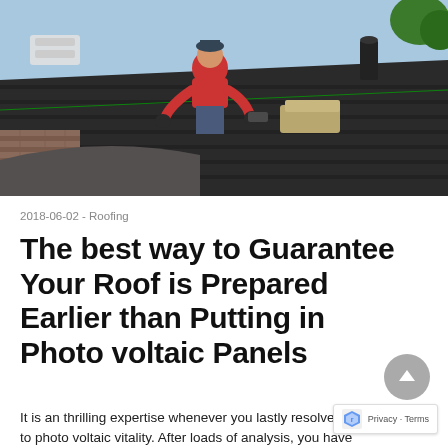[Figure (photo): Worker in red shirt installing roofing on a sloped residential roof, kneeling and using a nail gun, with roofing materials nearby and brick structure visible below]
2018-06-02 - Roofing
The best way to Guarantee Your Roof is Prepared Earlier than Putting in Photo voltaic Panels
It is an thrilling expertise whenever you lastly resolve to to photo voltaic vitality. After loads of analysis, you have